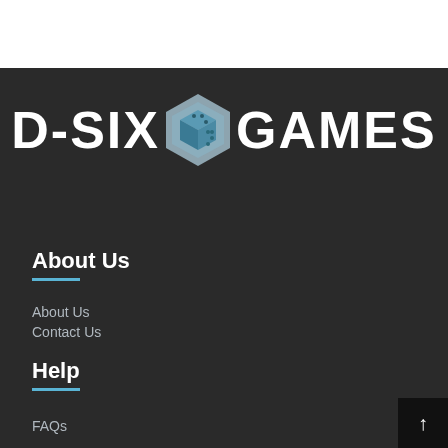[Figure (logo): D-SIX GAMES logo with hexagon dice icon in light blue on dark background]
About Us
About Us
Contact Us
Help
FAQs